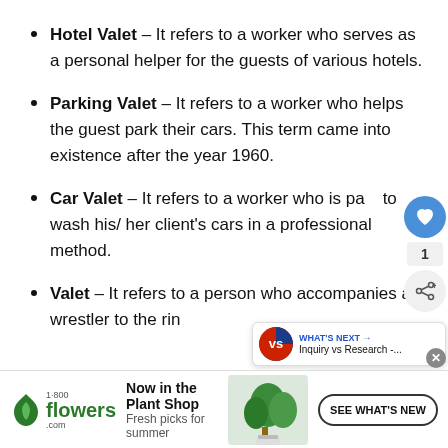Hotel Valet – It refers to a worker who serves as a personal helper for the guests of various hotels.
Parking Valet – It refers to a worker who helps the guest park their cars. This term came into existence after the year 1960.
Car Valet – It refers to a worker who is paid to wash his/ her client's cars in a professional method.
Valet – It refers to a person who accompanies a wrestler to the ring…